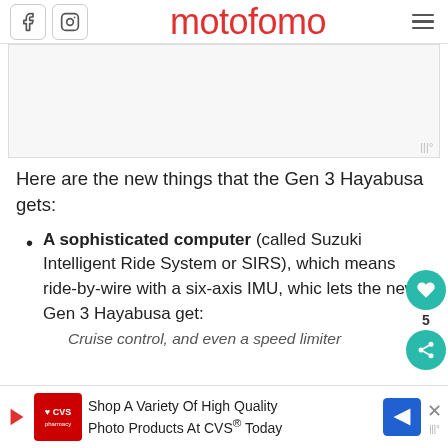motofomo
[Figure (other): Advertisement placeholder image area with light gray background]
Here are the new things that the Gen 3 Hayabusa gets:
A sophisticated computer (called Suzuki Intelligent Ride System or SIRS), which means ride-by-wire with a six-axis IMU, which lets the new Gen 3 Hayabusa get:
Cruise control, and even a speed limiter
[Figure (other): Bottom banner advertisement for CVS pharmacy: Shop A Variety Of High Quality Photo Products At CVS® Today]